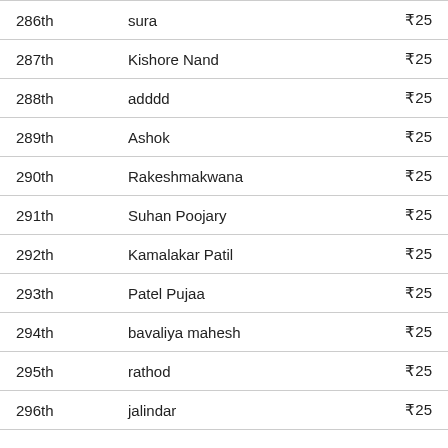| Rank | Name | Amount |
| --- | --- | --- |
| 286th | sura | ₹25 |
| 287th | Kishore Nand | ₹25 |
| 288th | adddd | ₹25 |
| 289th | Ashok | ₹25 |
| 290th | Rakeshmakwana | ₹25 |
| 291th | Suhan Poojary | ₹25 |
| 292th | Kamalakar Patil | ₹25 |
| 293th | Patel Pujaa | ₹25 |
| 294th | bavaliya mahesh | ₹25 |
| 295th | rathod | ₹25 |
| 296th | jalindar | ₹25 |